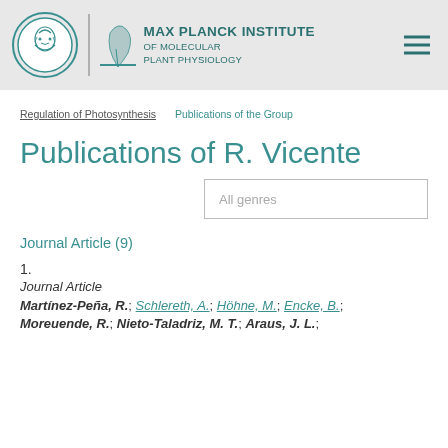MAX PLANCK INSTITUTE OF MOLECULAR PLANT PHYSIOLOGY
Regulation of Photosynthesis   Publications of the Group
Publications of R. Vicente
All genres
Journal Article (9)
1.
Journal Article
Martínez-Peña, R.; Schlereth, A.; Höhne, M.; Encke, B.; Moreuende, R.; Nieto-Taladriz, M. T.; Araus, J. L.; ...